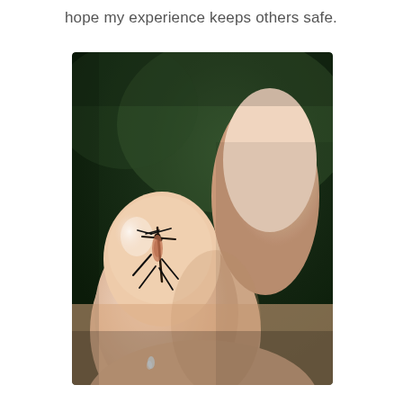hope my experience keeps others safe.
[Figure (photo): Close-up photograph of a human finger tip with medical sutures (stitches) closing a wound. The finger is held up against a blurred dark green background. Black suture threads are visible crossing the wound on the fingertip, with some fluid/moisture visible. Additional fingers are partially visible beside the injured finger.]